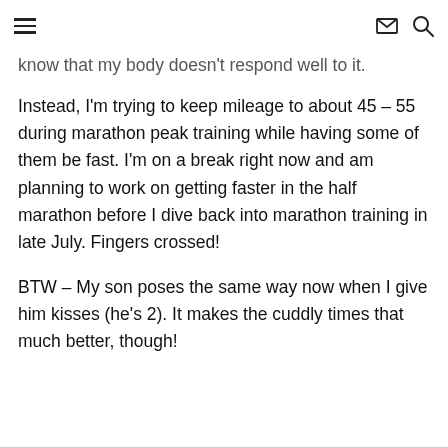[hamburger menu] [envelope icon] [search icon]
know that my body doesn't respond well to it. Instead, I'm trying to keep mileage to about 45 – 55 during marathon peak training while having some of them be fast. I'm on a break right now and am planning to work on getting faster in the half marathon before I dive back into marathon training in late July. Fingers crossed!
BTW – My son poses the same way now when I give him kisses (he's 2). It makes the cuddly times that much better, though!